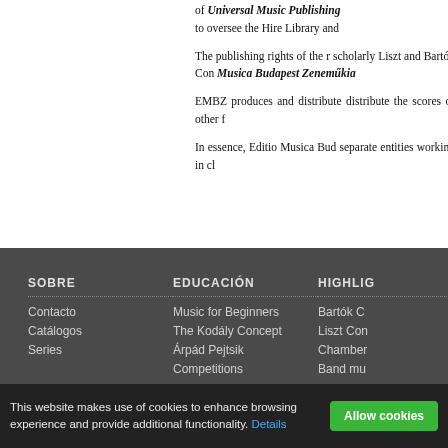of Universal Music Publishing to oversee the Hire Library and
The publishing rights of the r scholarly Liszt and Bartók Con Musica Budapest Zeneműkia
EMBZ produces and distribute distribute the scores of other f
In essence, Editio Musica Bud separate entities working in cl
SOBRE
EDUCACIÓN
HIGHLIG
Contacto
Catálogos
Series
Music for Beginners
The Kodály Concept
Árpád Pejtsik
Competitions
Bartók Co
Liszt Con
Chamber
Band mu
This website makes use of cookies to enhance browsing experience and provide additional functionality. Details
Allow cookies